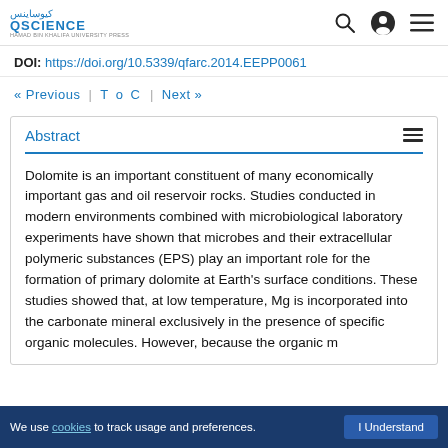QSCIENCE (Hamad Bin Khalifa University Press) header with navigation icons
DOI: https://doi.org/10.5339/qfarc.2014.EEPP0061
« Previous  |  ToC  |  Next »
Abstract
Dolomite is an important constituent of many economically important gas and oil reservoir rocks. Studies conducted in modern environments combined with microbiological laboratory experiments have shown that microbes and their extracellular polymeric substances (EPS) play an important role for the formation of primary dolomite at Earth's surface conditions. These studies showed that, at low temperature, Mg is incorporated into the carbonate mineral exclusively in the presence of specific organic molecules. However, because the organic m…
We use cookies to track usage and preferences.  I Understand